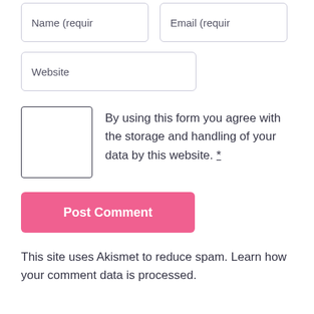Name (requir
Email (requir
Website
By using this form you agree with the storage and handling of your data by this website. *
Post Comment
This site uses Akismet to reduce spam. Learn how your comment data is processed.